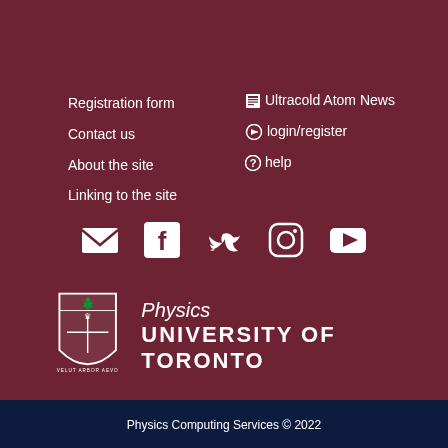Registration form
Contact us
About the site
Linking to the site
Ultracold Atom News
login/register
help
[Figure (infographic): Social media icons: email, Facebook, Twitter, Instagram, YouTube]
[Figure (logo): University of Toronto Physics department logo with crest, 'Physics' in italic and 'UNIVERSITY OF TORONTO' in bold caps]
Physics Computing Services © 2022